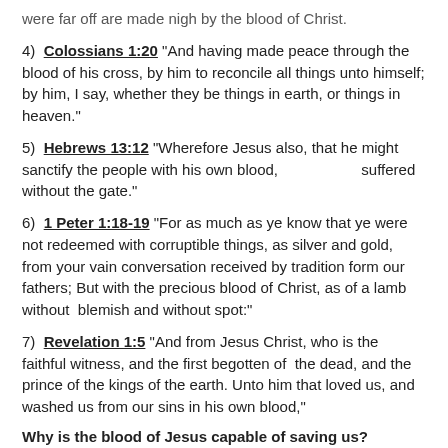were far off are made nigh by the blood of Christ.
4)  Colossians 1:20 "And having made peace through the blood of his cross, by him to reconcile all things unto himself; by him, I say, whether they be things in earth, or things in heaven."
5)  Hebrews 13:12 "Wherefore Jesus also, that he might sanctify the people with his own blood,                    suffered without the gate."
6)  1 Peter 1:18-19 "For as much as ye know that ye were not redeemed with corruptible things, as silver and gold, from your vain conversation received by tradition form our fathers; But with the precious blood of Christ, as of a lamb without  blemish and without spot:"
7)  Revelation 1:5 "And from Jesus Christ, who is the faithful witness, and the first begotten of  the dead, and the prince of the kings of the earth. Unto him that loved us, and washed us from our sins in his own blood,"
Why is the blood of Jesus capable of saving us?
1)  He was virgin born (Isaiah 7:14; Luke 1:27, 34-35)